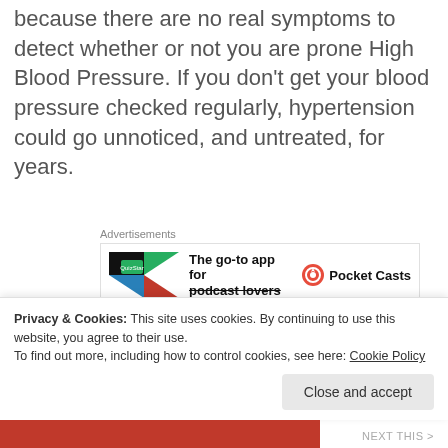Hypertension is sometimes known as the silent killer because there are no real symptoms to detect whether or not you are prone High Blood Pressure. If you don't get your blood pressure checked regularly, hypertension could go unnoticed, and untreated, for years.
[Figure (screenshot): Advertisement banner for Pocket Casts app showing a colorful logo and the text 'The go-to app for podcast lovers' with the Pocket Casts brand name and logo]
Your diet plays a big role in whether you have high or normal blood pressure. Dietary recommendations
Privacy & Cookies: This site uses cookies. By continuing to use this website, you agree to their use.
To find out more, including how to control cookies, see here: Cookie Policy
Close and accept